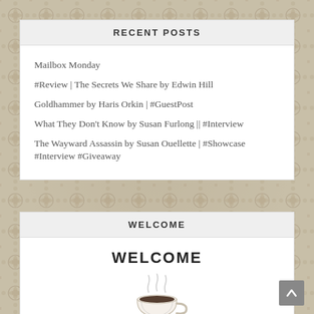RECENT POSTS
Mailbox Monday
#Review | The Secrets We Share by Edwin Hill
Goldhammer by Haris Orkin | #GuestPost
What They Don't Know by Susan Furlong || #Interview
The Wayward Assassin by Susan Ouellette | #Showcase #Interview #Giveaway
WELCOME
WELCOME
[Figure (photo): A white coffee cup with a hot beverage, steam visible, on a saucer]